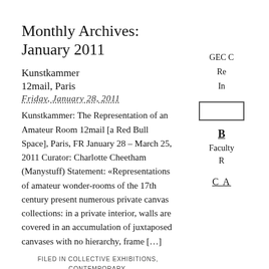Monthly Archives: January 2011
Kunstkammer
12mail, Paris
Friday, January 28, 2011
Kunstkammer: The Representation of an Amateur Room 12mail [a Red Bull Space], Paris, FR January 28 – March 25, 2011 Curator: Charlotte Cheetham (Manystuff) Statement: «Representations of amateur wonder-rooms of the 17th century present numerous private canvas collections: in a private interior, walls are covered in an accumulation of juxtaposed canvases with no hierarchy, frame […]
FILED IN COLLECTIVE EXHIBITIONS, CONTEMPORARY, CURATING, EUROPE, EXHIBITION, FRANCE | | COMMENTS OFF
GEC C Re In
[Figure (other): A rectangular box outline]
B Faculty R
C A